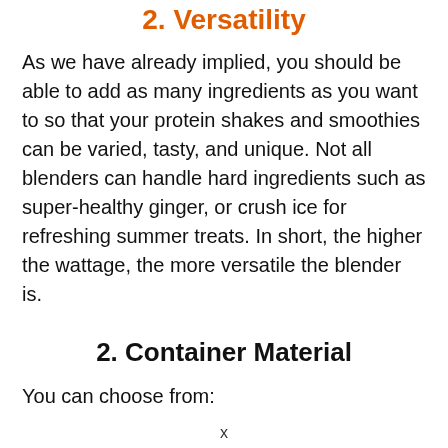2. Versatility
As we have already implied, you should be able to add as many ingredients as you want to so that your protein shakes and smoothies can be varied, tasty, and unique. Not all blenders can handle hard ingredients such as super-healthy ginger, or crush ice for refreshing summer treats. In short, the higher the wattage, the more versatile the blender is.
2. Container Material
You can choose from: